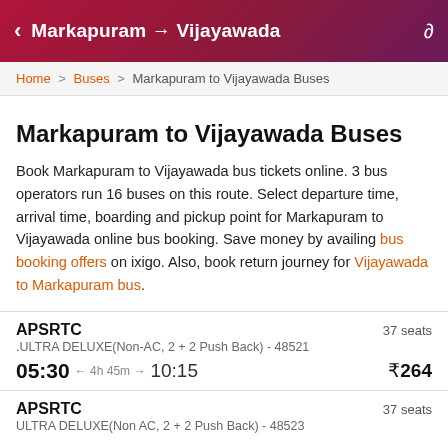Markapuram → Vijayawada
Home > Buses > Markapuram to Vijayawada Buses
Markapuram to Vijayawada Buses
Book Markapuram to Vijayawada bus tickets online. 3 bus operators run 16 buses on this route. Select departure time, arrival time, boarding and pickup point for Markapuram to Vijayawada online bus booking. Save money by availing bus booking offers on ixigo. Also, book return journey for Vijayawada to Markapuram bus.
APSRTC    37 seats
.ULTRA DELUXE(Non-AC, 2 + 2 Push Back) - 48521
05:30 ← 4h 45m → 10:15    ₹264
APSRTC    37 seats
ULTRA DELUXE(Non AC, 2 + 2 Push Back) - 48523